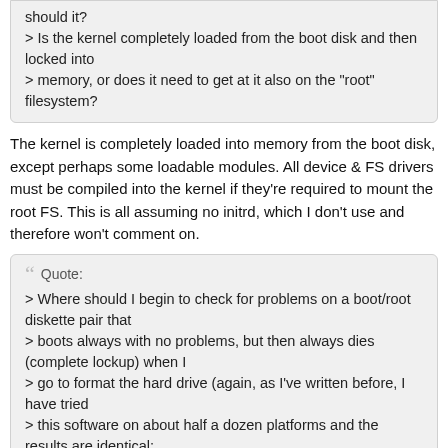> Is the kernel completely loaded from the boot disk and then locked into
> memory, or does it need to get at it also on the "root" filesystem?
The kernel is completely loaded into memory from the boot disk, except perhaps some loadable modules. All device & FS drivers must be compiled into the kernel if they're required to mount the root FS. This is all assuming no initrd, which I don't use and therefore won't comment on.
Quote:
> Where should I begin to check for problems on a boot/root diskette pair that
> boots always with no problems, but then always dies (complete lockup) when I
> go to format the hard drive (again, as I've written before, I have tried
> this software on about half a dozen platforms and the results are identical;
> I'm convinced its a software problem, not hardware as I thought before).
What exactly do you mean by "format the disk"? mkefs?  How much memory do these machines have? You may need to do a mkswap and swapon before doing the mkefs. IIRC there are/were some issues with mke2fs using memory.